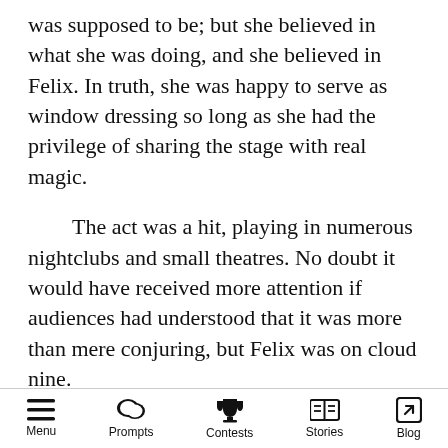was supposed to be; but she believed in what she was doing, and she believed in Felix. In truth, she was happy to serve as window dressing so long as she had the privilege of sharing the stage with real magic.
The act was a hit, playing in numerous nightclubs and small theatres. No doubt it would have received more attention if audiences had understood that it was more than mere conjuring, but Felix was on cloud nine.
Things came to a head one night when they were back at the Rialto. (The theatre's new management was unaware that The Incredible Phoenix was the person who had practically...
Menu | Prompts | Contests | Stories | Blog